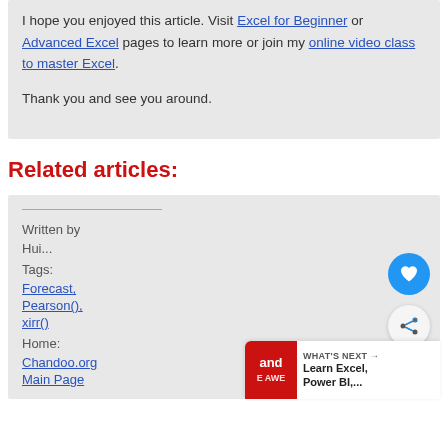I hope you enjoyed this article. Visit Excel for Beginner or Advanced Excel pages to learn more or join my online video class to master Excel.
Thank you and see you around.
Related articles:
Written by
Hui...
Tags:
Forecast,
Pearson(),
xirr()
Home:
Chandoo.org
Main Page